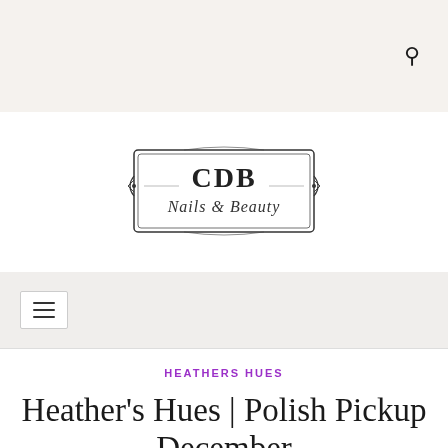[Figure (logo): CDB Nails & Beauty logo with decorative border frame, ornate script lettering]
[Figure (other): Hamburger menu icon (three horizontal lines) inside a navigation bar]
HEATHERS HUES
Heather's Hues | Polish Pickup December